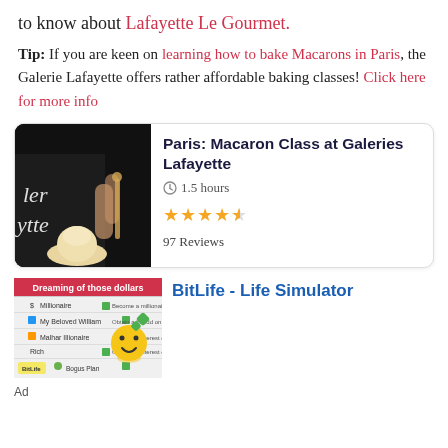to know about Lafayette Le Gourmet.
Tip: If you are keen on learning how to bake Macarons in Paris, the Galerie Lafayette offers rather affordable baking classes! Click here for more info
[Figure (infographic): Card showing Paris: Macaron Class at Galeries Lafayette, 1.5 hours, 4.5 stars, 97 Reviews]
[Figure (screenshot): Ad for BitLife - Life Simulator showing app screenshot with 'Dreaming of those dollars' banner and emoji]
Ad